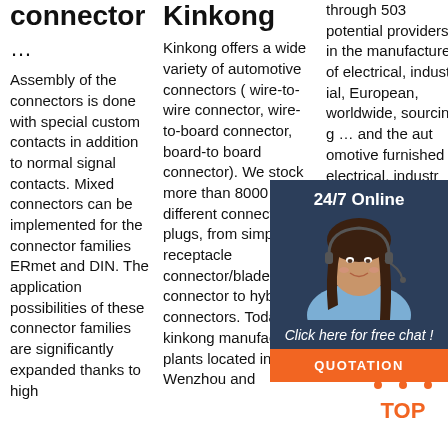connector
...
Assembly of the connectors is done with special custom contacts in addition to normal signal contacts. Mixed connectors can be implemented for the connector families ERmet and DIN. The application possibilities of these connector families are significantly expanded thanks to high
Kinkong
Kinkong offers a wide variety of automotive connectors ( wire-to-wire connector, wire-to-board connector, board-to board connector). We stock more than 8000 pcs different connector plugs, from simple receptacle connector/blade connector to hybrid connectors. Today, kinkong manufacturing plants located in Wenzhou and
through 503 potential providers in the manufacture of electrical, industrial, European, worldwide, sourcing ... and the automotive furnished electrical, industrial, mechanical, engineering, conditioning, ... a high-tech company committed to the design and manufacture of
[Figure (photo): Customer service representative wearing a headset, smiling, with 24/7 Online chat popup overlay including a QUOTATION button]